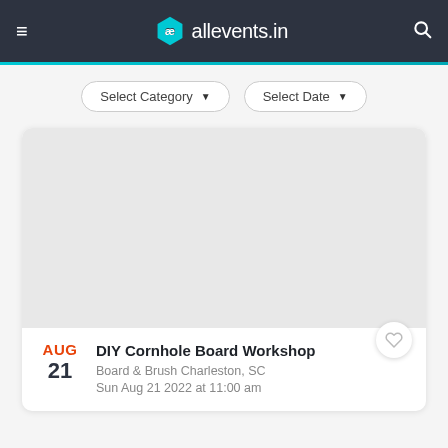allevents.in
Select Category  Select Date
[Figure (photo): Light gray placeholder image for event card]
AUG 21  DIY Cornhole Board Workshop
Board & Brush Charleston, SC
Sun Aug 21 2022 at 11:00 am